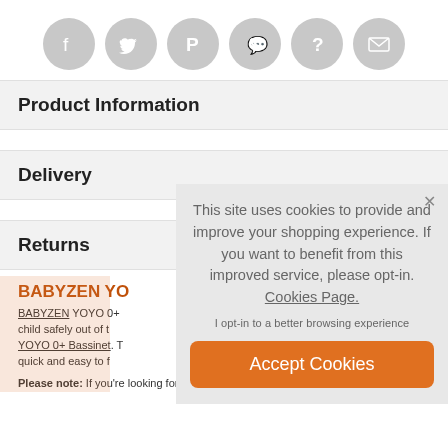[Figure (other): Row of 6 circular grey social media icon buttons: Facebook, Twitter, Pinterest, WhatsApp, Question mark, Email]
Product Information
Delivery
Returns
BABYZEN YO
BABYZEN YOYO 0+ child safely out of t YOYO 0+ Bassinet. T quick and easy to f
Please note: If you're looking for a raincover for your BABYZEN
This site uses cookies to provide and improve your shopping experience. If you want to benefit from this improved service, please opt-in. Cookies Page.
I opt-in to a better browsing experience
Accept Cookies